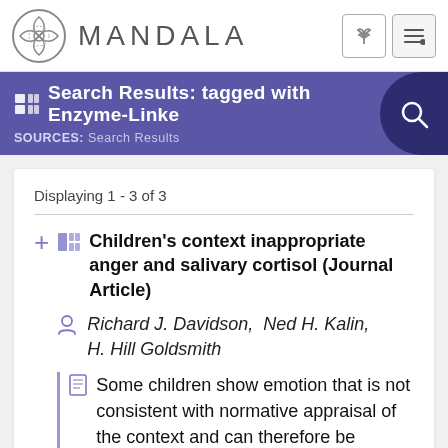MANDALA
Search Results: tagged with Enzyme-Linke
SOURCES: Search Results
Displaying 1 - 3 of 3
Children's context inappropriate anger and salivary cortisol (Journal Article)
Richard J. Davidson,  Ned H. Kalin,  H. Hill Goldsmith
Some children show emotion that is not consistent with normative appraisal of the context and can therefore be defined as context inappropriate (CI). The authors used individual...